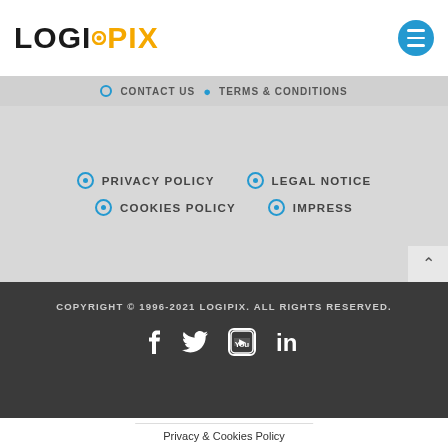[Figure (logo): LOGIPIX logo with orange dot between LOGI and PIX, PIX in orange]
[Figure (other): Blue circular hamburger menu icon with three white horizontal lines]
CONTACT US · TERMS & CONDITIONS
PRIVACY POLICY · LEGAL NOTICE
COOKIES POLICY · IMPRESS
COPYRIGHT © 1996-2021 LOGIPIX. ALL RIGHTS RESERVED.
[Figure (other): Social media icons: Facebook, Twitter, YouTube, LinkedIn in white on dark background]
Privacy & Cookies Policy